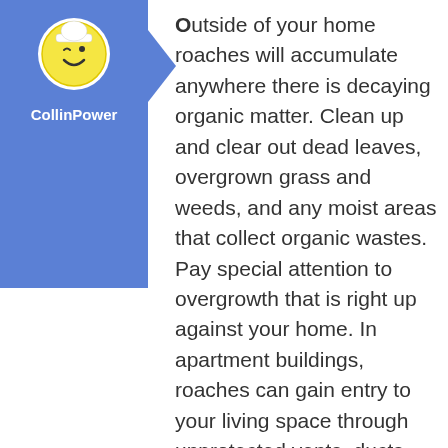[Figure (logo): CollinPower logo: smiley face character with a chef hat on a blue arrow panel background]
Outside of your home roaches will accumulate anywhere there is decaying organic matter. Clean up and clear out dead leaves, overgrown grass and weeds, and any moist areas that collect organic wastes. Pay special attention to overgrowth that is right up against your home. In apartment buildings, roaches can gain entry to your living space through unprotected vents, ducts and drains. Combat this weakness by removing vents and placing